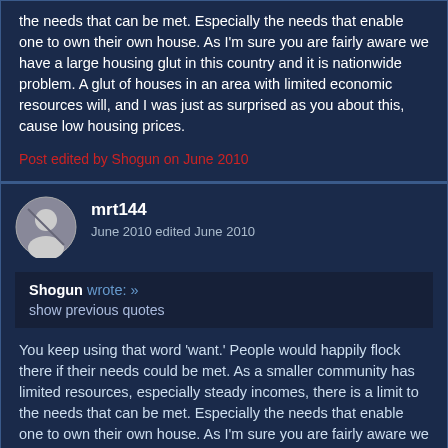the needs that can be met. Especially the needs that enable one to own their own house. As I'm sure you are fairly aware we have a large housing glut in this country and it is nationwide problem. A glut of houses in an area with limited economic resources will, and I was just as surprised as you about this, cause low housing prices.
Post edited by Shogun on June 2010
mrt144
June 2010 edited June 2010
Shogun wrote: »
show previous quotes
You keep using that word 'want.' People would happily flock there if their needs could be met. As a smaller community has limited resources, especially steady incomes, there is a limit to the needs that can be met. Especially the needs that enable one to own their own house. As I'm sure you are fairly aware we have a large housing glut in this country and it is nationwide